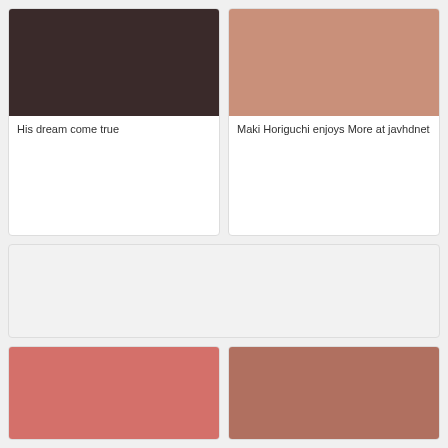[Figure (photo): Video thumbnail top left - dark indoor scene]
His dream come true
[Figure (photo): Video thumbnail top right - close up skin tones]
Maki Horiguchi enjoys More at javhdnet
[Figure (other): Large empty placeholder advertisement block]
[Figure (photo): Video thumbnail bottom left - pink tones close up]
[Figure (photo): Video thumbnail bottom right - person on chair]